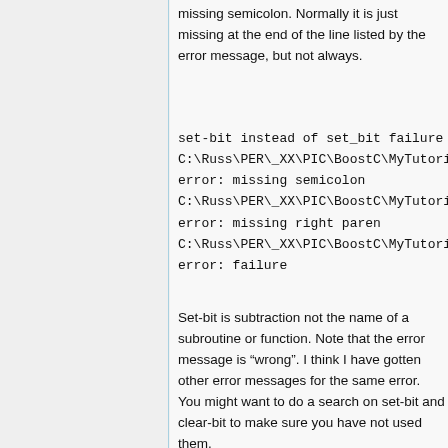missing semicolon. Normally it is just missing at the end of the line listed by the error message, but not always.
set-bit instead of set_bit failure C:\Russ\PER\_XX\PIC\BoostC\MyTutorial\H error: missing semicolon C:\Russ\PER\_XX\PIC\BoostC\MyTutorial\H error: missing right paren C:\Russ\PER\_XX\PIC\BoostC\MyTutorial\H error: failure
Set-bit is subtraction not the name of a subroutine or function. Note that the error message is “wrong”. I think I have gotten other error messages for the same error. You might want to do a search on set-bit and clear-bit to make sure you have not used them.